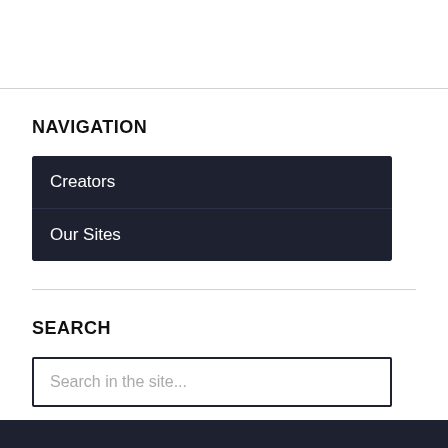NAVIGATION
Creators
Our Sites
SEARCH
Search in the site...